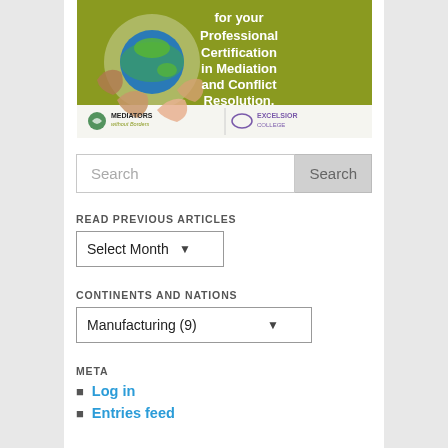[Figure (illustration): Banner advertisement for Professional Certification in Mediation and Conflict Resolution, showing hands holding a globe, with logos for Mediators without Borders and Excelsior College. Text reads 'for your Professional Certification in Mediation and Conflict Resolution.']
Search
READ PREVIOUS ARTICLES
Select Month
CONTINENTS AND NATIONS
Manufacturing  (9)
META
Log in
Entries feed